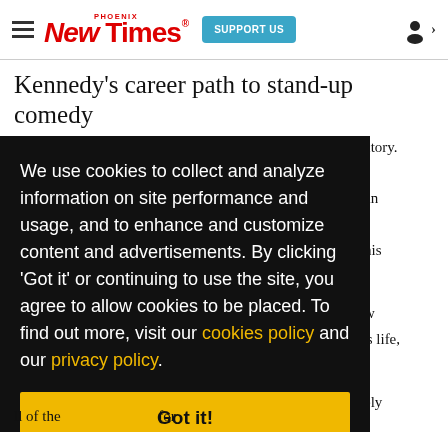Phoenix New Times | SUPPORT US
Kennedy's career path to stand-up comedy
We use cookies to collect and analyze information on site performance and usage, and to enhance and customize content and advertisements. By clicking 'Got it' or continuing to use the site, you agree to allow cookies to be placed. To find out more, visit our cookies policy and our privacy policy.
Got it!
...ctory. ...an ...his ...w 's life, ...ely ...as he ...for ...ll of the...